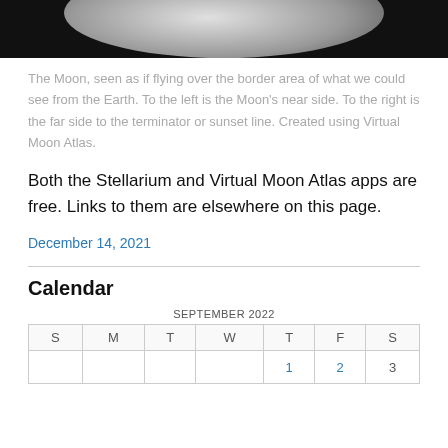[Figure (photo): Partial view of the Moon surface against black space background, seen from above near the border between near side and far side.]
The Moon, seen as if flying over the border area of what we could see from the Earth. To the left is the Moon’s near side. To the right is the far side to the terminator or sunset line. Created using Virtual Moon Atlas.
Both the Stellarium and Virtual Moon Atlas apps are free. Links to them are elsewhere on this page.
December 14, 2021
Calendar
| S | M | T | W | T | F | S |
| --- | --- | --- | --- | --- | --- | --- |
|  |  |  |  | 1 | 2 | 3 |